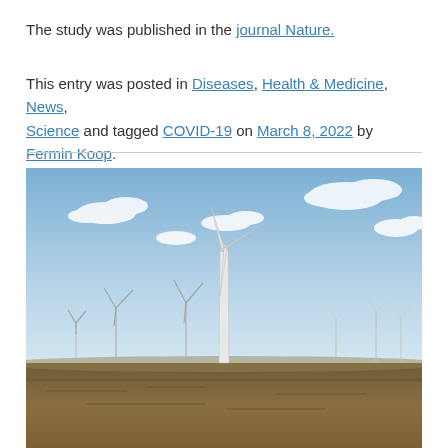The study was published in the journal Nature.
This entry was posted in Diseases, Health & Medicine, News, Science and tagged COVID-19 on March 8, 2022 by Fermin Koop.
[Figure (photo): A wind farm with multiple wind turbines spread across a flat, dry grassland under a partly cloudy blue sky.]